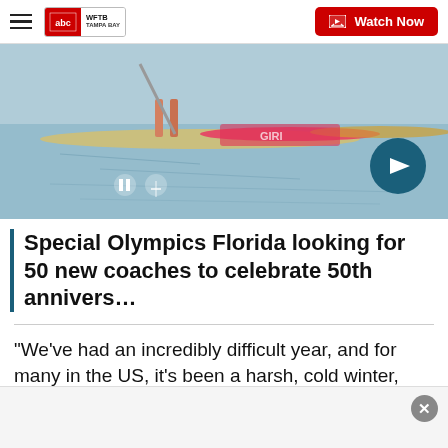WFTB TAMPA BAY | Watch Now
[Figure (photo): A person standing on a paddleboard on water, with colorful kayaks/paddleboards visible. Video thumbnail with play/pause and mute controls visible. Arrow navigation button on bottom right.]
Special Olympics Florida looking for 50 new coaches to celebrate 50th annivers…
“We’ve had an incredibly difficult year, and for many in the US, it’s been a harsh, cold winter, and we’re seeing that pent-up demand we’re seeing people wanting sunshine and warmth and outdoors,” said